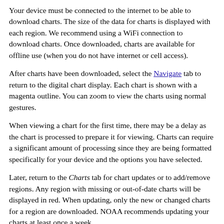Your device must be connected to the internet to be able to download charts. The size of the data for charts is displayed with each region. We recommend using a WiFi connection to download charts. Once downloaded, charts are available for offline use (when you do not have internet or cell access).
After charts have been downloaded, select the Navigate tab to return to the digital chart display. Each chart is shown with a magenta outline. You can zoom to view the charts using normal gestures.
When viewing a chart for the first time, there may be a delay as the chart is processed to prepare it for viewing. Charts can require a significant amount of processing since they are being formatted specifically for your device and the options you have selected.
Later, return to the Charts tab for chart updates or to add/remove regions. Any region with missing or out-of-date charts will be displayed in red. When updating, only the new or changed charts for a region are downloaded. NOAA recommends updating your charts at least once a week.
Note that charts are downloaded only onto the current device. If you use this app on a different device you will need to select the regions you want on it and download those as well.